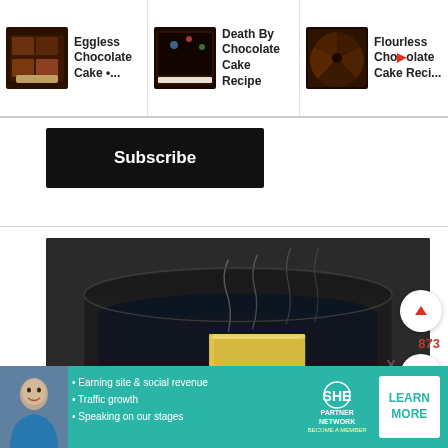[Figure (screenshot): Web page screenshot showing three recommended chocolate cake article cards at the top: 'Eggless Chocolate Cake •...', 'Death By Chocolate Cake Recipe', and 'Flourless Chocolate Cake Reci...', each with a thumbnail image of chocolate brownies/cake. Below is a Subscribe button in black. Then a large cooking photo showing a stick of butter melting in a dark pot with steam rising. On the right edge are circular UI buttons: an up-arrow button, a vote count '873', a heart button, and an orange search button. A small partial thumbnail appears bottom-right. At the bottom is a teal SHE Partner Network advertisement banner with a woman's photo, bullet points ('Earning site & social revenue', 'Traffic growth', 'Speaking on our stages'), the SHE logo, and a white 'LEARN MORE' button.]